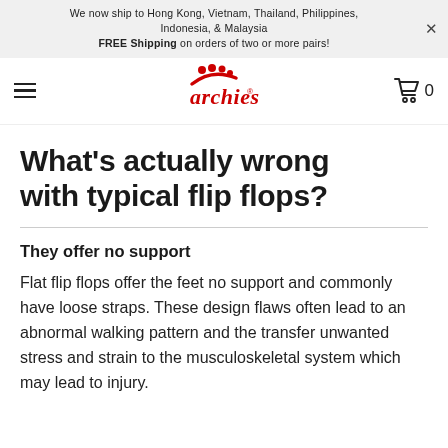We now ship to Hong Kong, Vietnam, Thailand, Philippines, Indonesia, & Malaysia
FREE Shipping on orders of two or more pairs!
[Figure (logo): Archies footwear logo with red footprint dots and red cursive text]
What's actually wrong with typical flip flops?
They offer no support
Flat flip flops offer the feet no support and commonly have loose straps. These design flaws often lead to an abnormal walking pattern and the transfer unwanted stress and strain to the musculoskeletal system which may lead to injury.